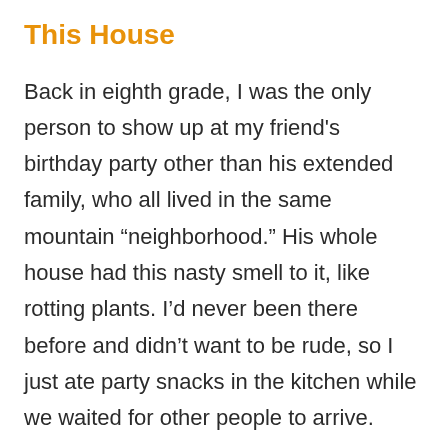This House
Back in eighth grade, I was the only person to show up at my friend's birthday party other than his extended family, who all lived in the same mountain “neighborhood.” His whole house had this nasty smell to it, like rotting plants. I’d never been there before and didn’t want to be rude, so I just ate party snacks in the kitchen while we waited for other people to arrive.